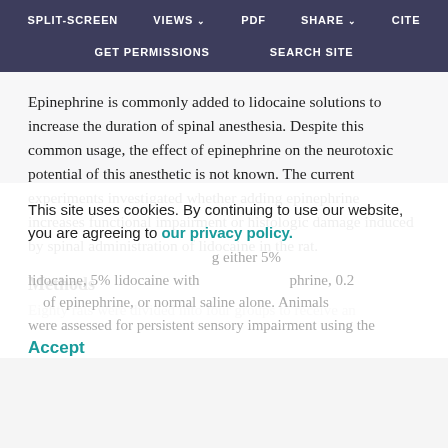SPLIT-SCREEN   VIEWS   PDF   SHARE   CITE   GET PERMISSIONS   SEARCH SITE
Epinephrine is commonly added to lidocaine solutions to increase the duration of spinal anesthesia. Despite this common usage, the effect of epinephrine on the neurotoxic potential of this anesthetic is not known. The current experiments investigated whether adding epinephrine increases functional impairment or histologic damage induced by spinal administration of lidocaine in the rat.
Methods
Eighty rats were divided into four groups to receive an intrathecal injection containing either 5% lidocaine, 5% lidocaine with epinephrine, 0.2 μg of epinephrine, or normal saline alone. Animals were assessed for persistent sensory impairment using the
This site uses cookies. By continuing to use our website, you are agreeing to our privacy policy.
Accept